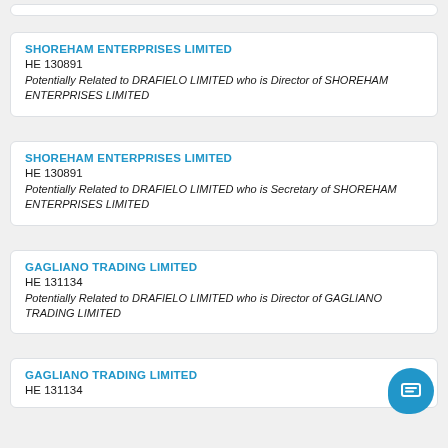SHOREHAM ENTERPRISES LIMITED
HE 130891
Potentially Related to DRAFIELO LIMITED who is Director of SHOREHAM ENTERPRISES LIMITED
SHOREHAM ENTERPRISES LIMITED
HE 130891
Potentially Related to DRAFIELO LIMITED who is Secretary of SHOREHAM ENTERPRISES LIMITED
GAGLIANO TRADING LIMITED
HE 131134
Potentially Related to DRAFIELO LIMITED who is Director of GAGLIANO TRADING LIMITED
GAGLIANO TRADING LIMITED
HE 131134